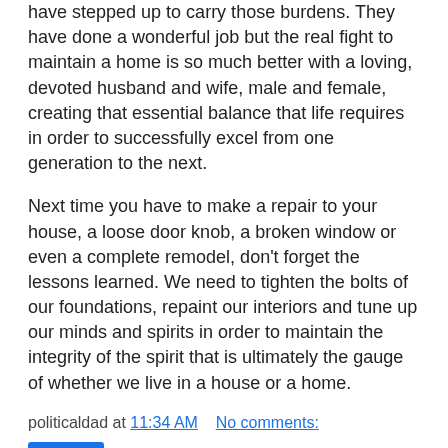have stepped up to carry those burdens.  They have done a wonderful job but the real fight to maintain a home is so much better with a loving, devoted husband and wife, male and female, creating that essential balance that life requires in order to successfully excel from one generation to the next.
Next time you have to make a repair to your house, a loose door knob, a broken window or even a complete remodel, don't forget the lessons learned.  We need to tighten the bolts of our foundations, repaint our interiors and tune up our minds and spirits in order to maintain the integrity of the spirit that is ultimately the gauge of whether we live in a house or a home.
politicaldad at 11:34 AM   No comments:
Share
Tuesday, April 8, 2014
Unequal pay